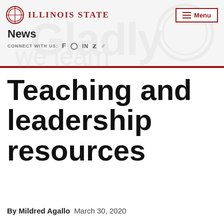Illinois State — Menu
News
CONNECT WITH US:
Teaching and leadership resources
By Mildred Agallo  March 30, 2020